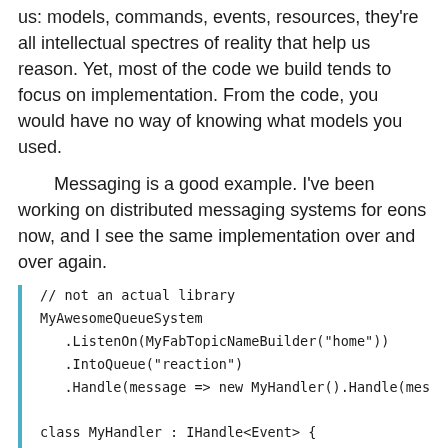us: models, commands, events, resources, they're all intellectual spectres of reality that help us reason. Yet, most of the code we build tends to focus on implementation. From the code, you would have no way of knowing what models you used.
Messaging is a good example. I've been working on distributed messaging systems for eons now, and I see the same implementation over and over again.
[Figure (screenshot): Code block with a blue left border showing a C# messaging example: MyAwesomeQueueSystem with ListenOn, IntoQueue, Handle methods, and a MyHandler class implementing IHandle<Event> with a Handle method checking if Event is Spider and calling me.Jump()]